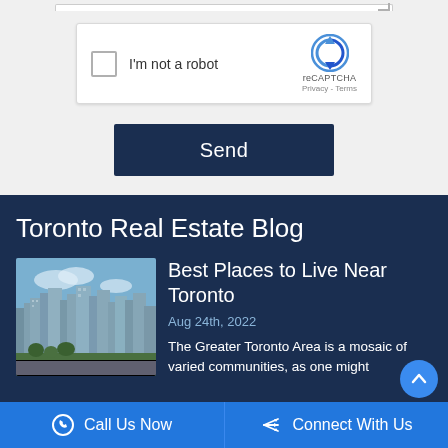[Figure (screenshot): reCAPTCHA widget with checkbox labeled 'I'm not a robot' and reCAPTCHA logo]
Send
Toronto Real Estate Blog
[Figure (photo): Aerial view of Toronto city skyline showing high-rise buildings and urban landscape]
Best Places to Live Near Toronto
Aug 24th, 2022
The Greater Toronto Area is a mosaic of varied communities, as one might
Call Us Now
Connect With Us